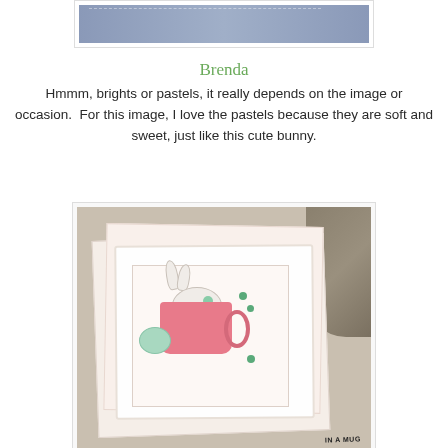[Figure (photo): Top portion of a handmade card with a floral strip on a blue-grey background with pearl/gem embellishments and small floral details]
Brenda
Hmmm, brights or pastels, it really depends on the image or occasion.  For this image, I love the pastels because they are soft and sweet, just like this cute bunny.
[Figure (photo): Handmade card showing a cute bunny sitting inside a pink mug/teacup, with floral embellishments, scalloped white frame, decorative layers, green gem dots, and sentiment reading 'IN A MUG' at the bottom. Set against a stone/wood background.]